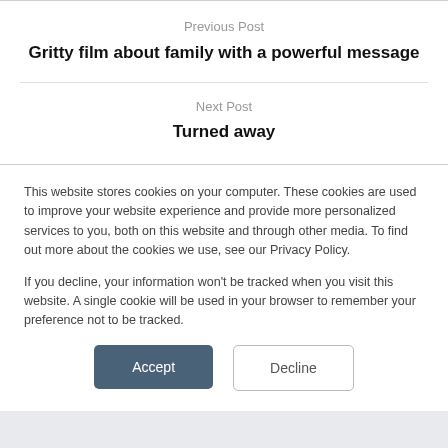Previous Post
Gritty film about family with a powerful message
Next Post
Turned away
This website stores cookies on your computer. These cookies are used to improve your website experience and provide more personalized services to you, both on this website and through other media. To find out more about the cookies we use, see our Privacy Policy.
If you decline, your information won't be tracked when you visit this website. A single cookie will be used in your browser to remember your preference not to be tracked.
Accept
Decline